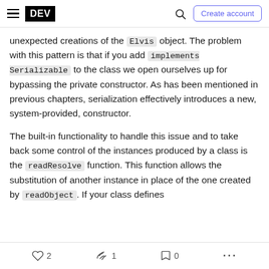DEV — Create account
unexpected creations of the Elvis object. The problem with this pattern is that if you add implements Serializable to the class we open ourselves up for bypassing the private constructor. As has been mentioned in previous chapters, serialization effectively introduces a new, system-provided, constructor.
The built-in functionality to handle this issue and to take back some control of the instances produced by a class is the readResolve function. This function allows the substitution of another instance in place of the one created by readObject. If your class defines
❤ 2   🔖 1   🔖 0   ...